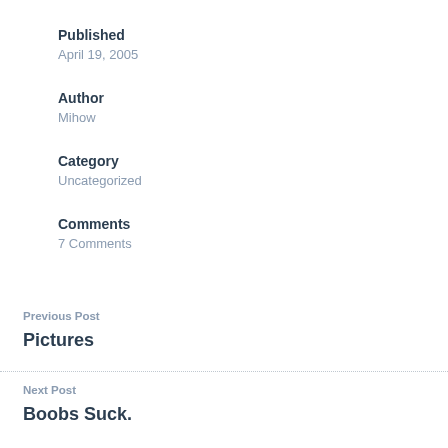Published
April 19, 2005
Author
Mihow
Category
Uncategorized
Comments
7 Comments
Previous Post
Pictures
Next Post
Boobs Suck.